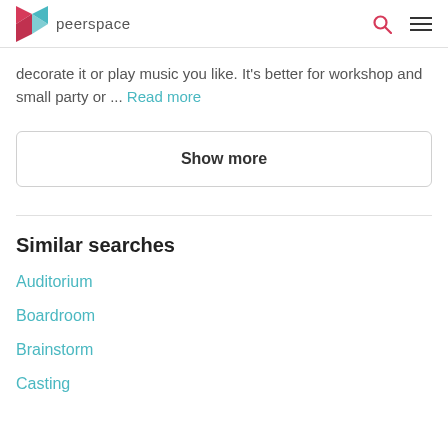peerspace
decorate it or play music you like. It's better for workshop and small party or ... Read more
Show more
Similar searches
Auditorium
Boardroom
Brainstorm
Casting